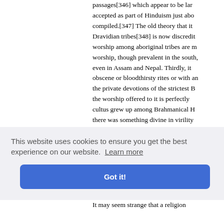passages[346] which appear to be largely accepted as part of Hinduism just about compiled.[347] The old theory that it Dravidian tribes[348] is now discredited worship among aboriginal tribes are more worship, though prevalent in the south, even in Assam and Nepal. Thirdly, it obscene or bloodthirsty rites or with an the private devotions of the strictest B the worship offered to it is perfectly cultus grew up among Brahmanical H there was something divine in virility symbol—the stone pillar—may have Buddhist veneration of stupas, especially ious emb dards ere tirely lost late, is cords of i
This website uses cookies to ensure you get the best experience on our website. Learn more
Got it!
It may seem strange that a religion